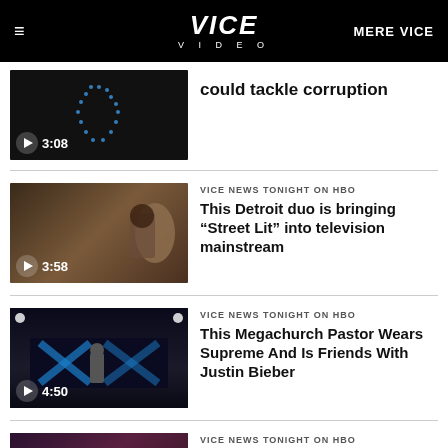VICE VIDEO | MERE VICE
[Figure (screenshot): Partial video thumbnail with play button and duration 3:08]
could tackle corruption
[Figure (screenshot): Video thumbnail showing two people in conversation, play button, duration 3:58]
VICE NEWS TONIGHT ON HBO
This Detroit duo is bringing “Street Lit” into television mainstream
[Figure (screenshot): Video thumbnail showing a man on stage in front of blue lit set, play button, duration 4:50]
VICE NEWS TONIGHT ON HBO
This Megachurch Pastor Wears Supreme And Is Friends With Justin Bieber
[Figure (screenshot): Partial video thumbnail showing a crowd]
VICE NEWS TONIGHT ON HBO
Systematically Outnumbered...